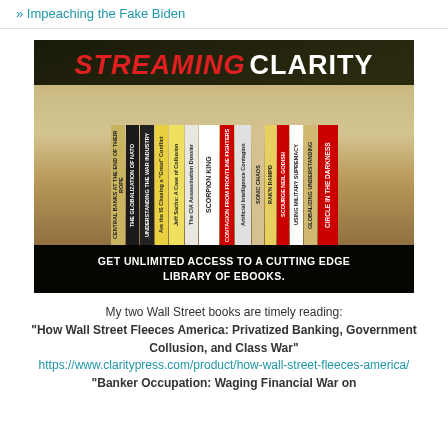» Impeaching the Fake Biden
[Figure (photo): Streaming Clarity promotional image showing book spines on a shelf with text 'GET UNLIMITED ACCESS TO A CUTTING EDGE LIBRARY OF EBOOKS.']
My two Wall Street books are timely reading:
"How Wall Street Fleeces America: Privatized Banking, Government Collusion, and Class War"
https://www.claritypress.com/product/how-wall-street-fleeces-america/
"Banker Occupation: Waging Financial War on